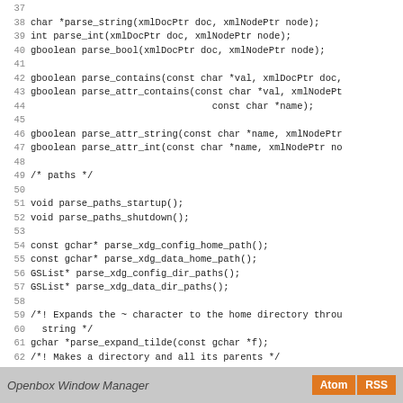37
38 char *parse_string(xmlDocPtr doc, xmlNodePtr node);
39 int parse_int(xmlDocPtr doc, xmlNodePtr node);
40 gboolean parse_bool(xmlDocPtr doc, xmlNodePtr node);
41
42 gboolean parse_contains(const char *val, xmlDocPtr doc,
43 gboolean parse_attr_contains(const char *val, xmlNodePt
44                                         const char *name);
45
46 gboolean parse_attr_string(const char *name, xmlNodePtr
47 gboolean parse_attr_int(const char *name, xmlNodePtr no
48
49 /* paths */
50
51 void parse_paths_startup();
52 void parse_paths_shutdown();
53
54 const gchar* parse_xdg_config_home_path();
55 const gchar* parse_xdg_data_home_path();
56 GSList* parse_xdg_config_dir_paths();
57 GSList* parse_xdg_data_dir_paths();
58
59 /*! Expands the ~ character to the home directory throu
60   string */
61 gchar *parse_expand_tilde(const gchar *f);
62 /*! Makes a directory and all its parents */
63 void parse_mkdir_path(const gchar *path, gint mode);
64
65 #endif
Openbox Window Manager